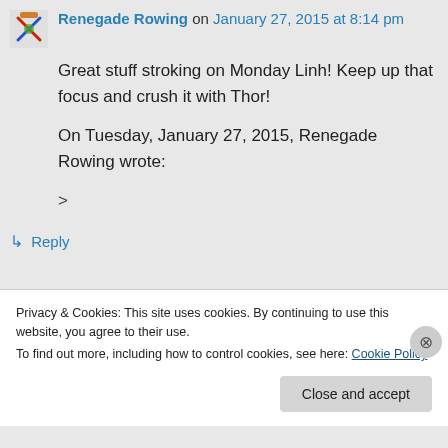Renegade Rowing on January 27, 2015 at 8:14 pm
Great stuff stroking on Monday Linh! Keep up that focus and crush it with Thor!
On Tuesday, January 27, 2015, Renegade Rowing wrote:
>
↳ Reply
Privacy & Cookies: This site uses cookies. By continuing to use this website, you agree to their use.
To find out more, including how to control cookies, see here: Cookie Policy
Close and accept